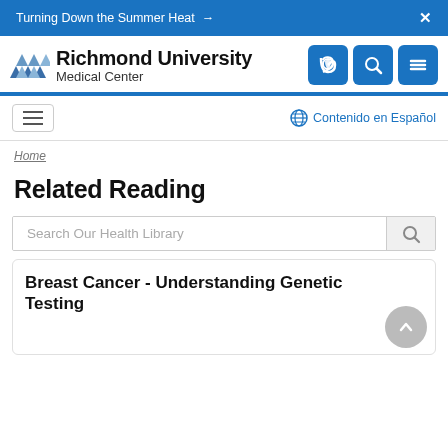Turning Down the Summer Heat →
[Figure (logo): Richmond University Medical Center logo with triangular graphic elements and three icon buttons (phone, search, menu) in blue]
Contenido en Español
Home
Related Reading
Search Our Health Library
Breast Cancer - Understanding Genetic Testing